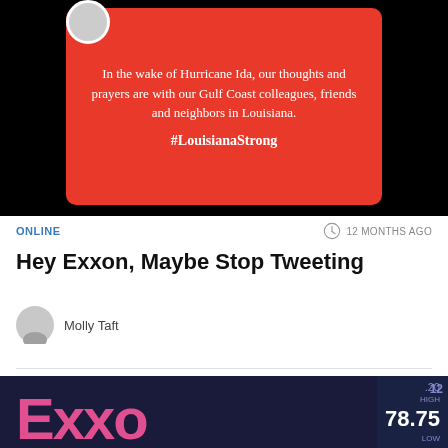[Figure (screenshot): Red card on black background with white text: 'In the wake of Hurricane Ida, our thoughts and prayers are with our Gulf Coast colleagues, friends and neighbors in Louisiana. #LouisianaStrong']
ONLINE
12 MONTHS AGO
Hey Exxon, Maybe Stop Tweeting
Molly Taft
[Figure (photo): Dark blue background showing partial Exxon logo in pink/magenta large letters, with stock ticker overlay showing 78.75 and partial numbers .20 HIGH and 12 LOW]